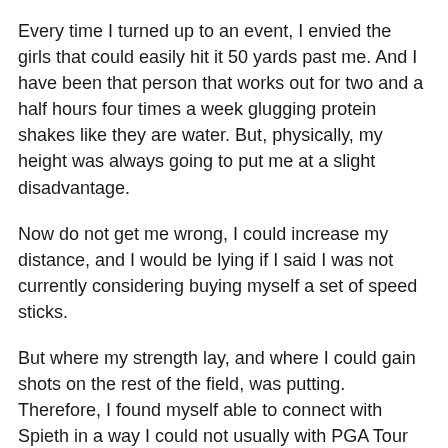Every time I turned up to an event, I envied the girls that could easily hit it 50 yards past me. And I have been that person that works out for two and a half hours four times a week glugging protein shakes like they are water. But, physically, my height was always going to put me at a slight disadvantage.
Now do not get me wrong, I could increase my distance, and I would be lying if I said I was not currently considering buying myself a set of speed sticks.
But where my strength lay, and where I could gain shots on the rest of the field, was putting. Therefore, I found myself able to connect with Spieth in a way I could not usually with PGA Tour players.
Embed from Getty Images